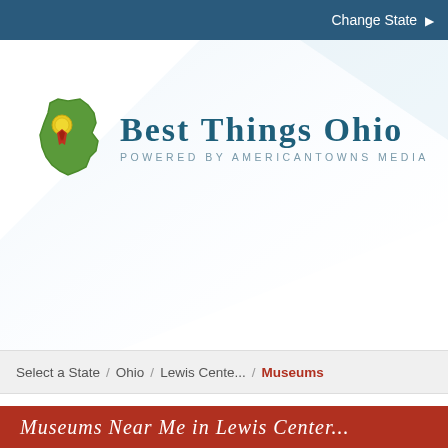Change State ▶
[Figure (logo): Best Things Ohio logo — Ohio state shape in green with a yellow ribbon/medal, beside text 'BEST THINGS OHIO' in teal serif font, subtitle 'POWERED BY AMERICANTOWNS MEDIA' in smaller spaced gray letters]
Select a State  /  Ohio  /  Lewis Cente...  /  Museums
Museums Near Me in Lewis Center...